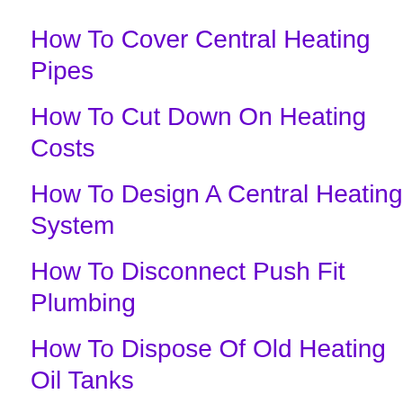How To Cover Central Heating Pipes
How To Cut Down On Heating Costs
How To Design A Central Heating System
How To Disconnect Push Fit Plumbing
How To Dispose Of Old Heating Oil Tanks
How To Do A Power Flush Central Heating System
How To Do Plumbing
How To Do Underfloor Heating
How To Drain A Central Heating System
How To Drain A Central Heating System Combi Boiler
How To Drain A Central Heating System Without Draining It